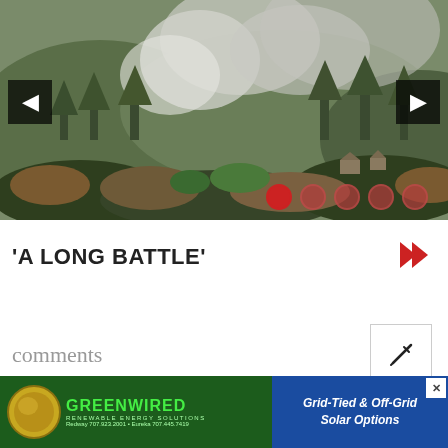[Figure (photo): Aerial or elevated view of forested hillside with wildfire smoke rising through trees, green and brown vegetation visible, navigation arrows on left and right sides, red dot indicators at bottom right]
'A LONG BATTLE'
comments
[Figure (infographic): Advertisement banner for GREENWIRED Renewable Energy Solutions: Grid-Tied & Off-Grid Solar Options. Redway 707.923.2001 • Eureka 707.445.7419]